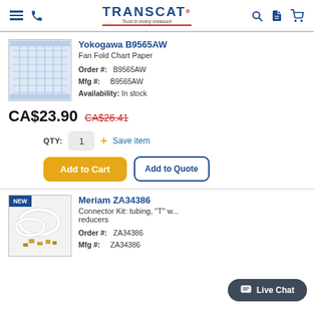TRANSCAT — Trust in every measure
[Figure (photo): Yokogawa B9565AW fan fold chart paper product image]
Yokogawa B9565AW
Fan Fold Chart Paper
Order #: B9565AW
Mfg #: B9565AW
Availability: In stock
CA$23.90  CA$26.41
QTY: 1  + Save item
Add to Cart   Add to Quote
[Figure (photo): Meriam ZA34386 connector kit product image with white tubing and brass fittings, NEW badge]
Meriam ZA34386
Connector Kit: tubing, "T" w... reducers
Order #: ZA34386
Mfg #: ZA34386
Live Chat